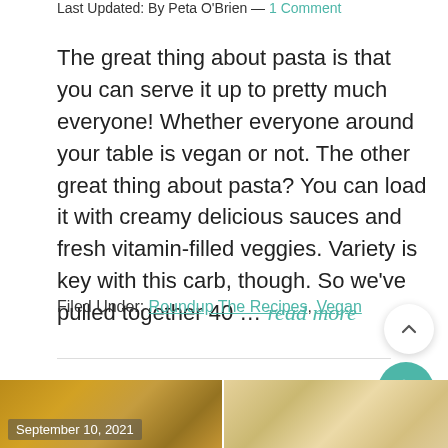Last Updated: By Peta O'Brien — 1 Comment
The great thing about pasta is that you can serve it up to pretty much everyone! Whether everyone around your table is vegan or not. The other great thing about pasta? You can load it with creamy delicious sauces and fresh vitamin-filled veggies. Variety is key with this carb, though. So we've pulled together 40 … read more
Filed Under: Roundup The Recipes, Vegan
[Figure (photo): Two food photos side by side. Left image shows pasta dish dated September 10, 2021. Right image shows another food dish.]